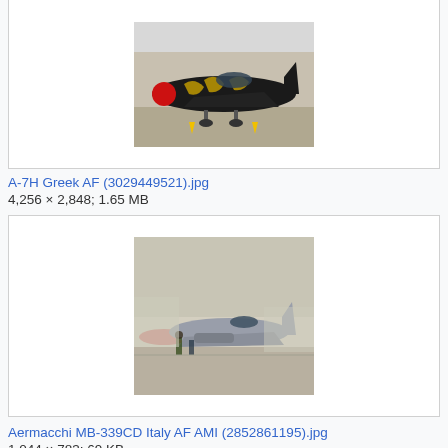[Figure (photo): A-7H Corsair II aircraft with black and tiger stripe paint scheme and red nose on tarmac, cropped top portion visible]
A-7H Greek AF (3029449521).jpg
4,256 × 2,848; 1.65 MB
[Figure (photo): Aermacchi MB-339CD aircraft on tarmac with people nearby at an airshow, Italian Air Force]
Aermacchi MB-339CD Italy AF AMI (2852861195).jpg
1,044 × 783; 69 KB
[Figure (photo): Partially visible aircraft image, blue-grey background, bottom of page cut off]